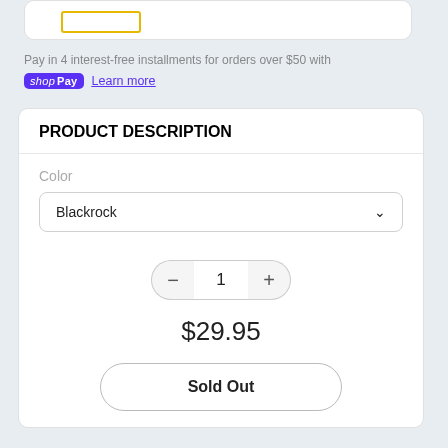[Figure (screenshot): Top card with yellow-bordered rectangle logo placeholder]
Pay in 4 interest-free installments for orders over $50 with
shop Pay  Learn more
PRODUCT DESCRIPTION
Color
Blackrock
1
$29.95
Sold Out